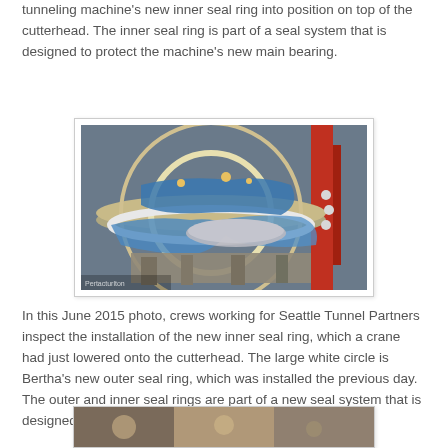tunneling machine's new inner seal ring into position on top of the cutterhead. The inner seal ring is part of a seal system that is designed to protect the machine's new main bearing.
[Figure (photo): June 2015 construction site photo showing crews inspecting the installation of a new inner seal ring on the cutterhead of Seattle's Bertha tunneling machine. Blue tarps cover parts of the large circular cutterhead. The large white circle visible is Bertha's new outer seal ring.]
In this June 2015 photo, crews working for Seattle Tunnel Partners inspect the installation of the new inner seal ring, which a crane had just lowered onto the cutterhead. The large white circle is Bertha's new outer seal ring, which was installed the previous day. The outer and inner seal rings are part of a new seal system that is designed to protect the machine's new main bearing.
[Figure (photo): Partial view of another construction site photo at the bottom of the page, partially cut off.]